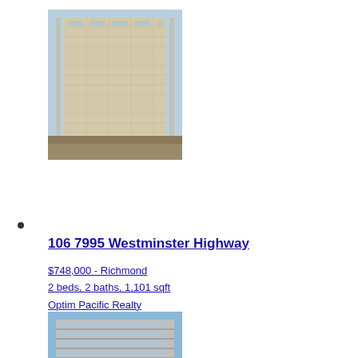[Figure (photo): Tall residential condominium tower under construction or renovation, beige/tan facade with balconies, street level visible]
106 7995 Westminster Highway
$748,000 - Richmond
2 beds, 2 baths, 1,101 sqft
Optim Pacific Realty
[Figure (photo): Mid-rise modern condominium building with horizontal balconies, blue sky, street level with trees and storefronts]
1606 8068 Westminster Highway
$738,000 - Richmond